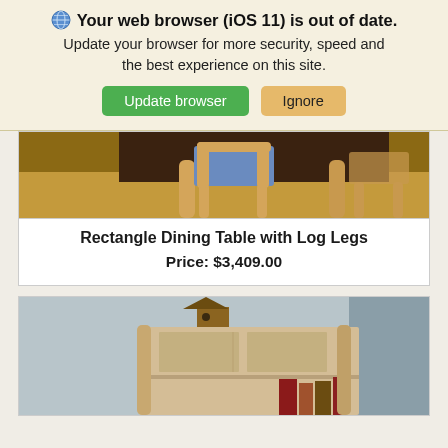Your web browser (iOS 11) is out of date. Update your browser for more security, speed and the best experience on this site.
Update browser | Ignore
[Figure (photo): Partial view of a rustic log-legged dining table with bar stools on a wood floor]
Rectangle Dining Table with Log Legs
Price: $3,409.00
[Figure (photo): Partial view of a rustic log-style bookcase/cabinet with a birdhouse decoration on top and books inside, against a blue-grey wall]